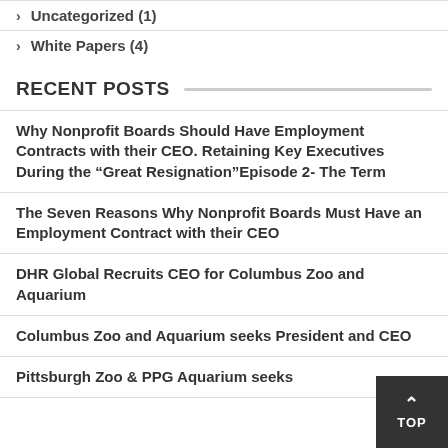Uncategorized (1)
White Papers (4)
RECENT POSTS
Why Nonprofit Boards Should Have Employment Contracts with their CEO. Retaining Key Executives During the “Great Resignation”Episode 2- The Term
The Seven Reasons Why Nonprofit Boards Must Have an Employment Contract with their CEO
DHR Global Recruits CEO for Columbus Zoo and Aquarium
Columbus Zoo and Aquarium seeks President and CEO
Pittsburgh Zoo & PPG Aquarium seeks